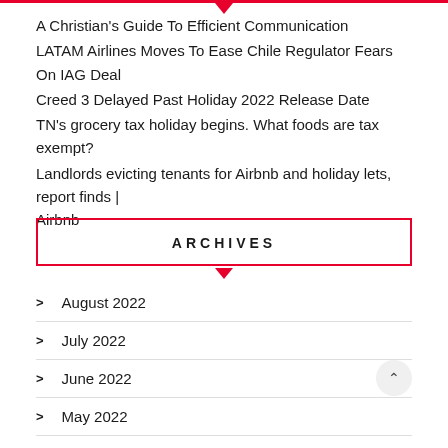A Christian's Guide To Efficient Communication
LATAM Airlines Moves To Ease Chile Regulator Fears On IAG Deal
Creed 3 Delayed Past Holiday 2022 Release Date
TN's grocery tax holiday begins. What foods are tax exempt?
Landlords evicting tenants for Airbnb and holiday lets, report finds | Airbnb
ARCHIVES
August 2022
July 2022
June 2022
May 2022
April 2022